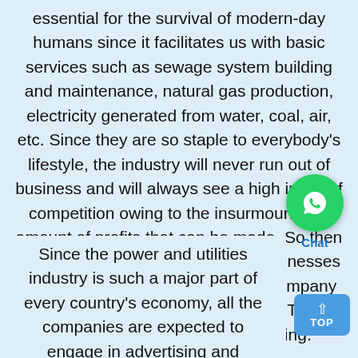essential for the survival of modern-day humans since it facilitates us with basic services such as sewage system building and maintenance, natural gas production, electricity generated from water, coal, air, etc. Since they are so staple to everybody's lifestyle, the industry will never run out of business and will always see a high influx of competition owing to the insurmountable amount of profits that can be made. So then how do you stay ahead of other businesses and make your energy and utility company the most coveted one out there? The answer is stealthy digital marketing.
[Figure (logo): WhatsApp chat button icon (green circle with white phone logo) with 'Chat' label below]
Since the power and utilities industry is such a major part of every country's economy, all the companies are expected to engage in advertising and marketing. Doing it through print media or television
[Figure (other): Blue rounded rectangle 'TOP' button with upward arrow]